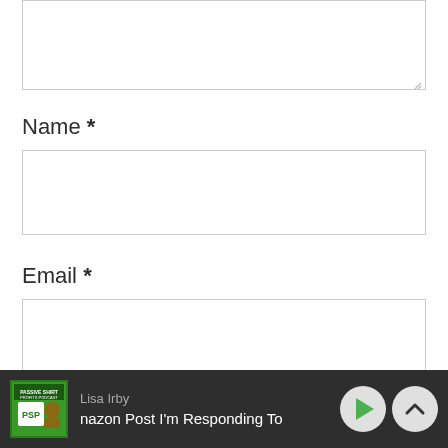[Figure (screenshot): Textarea input box (comment field, top portion visible, resizable)]
Name *
[Figure (screenshot): Name input field (single-line text box)]
Email *
[Figure (screenshot): Email input field (single-line text box)]
[Figure (screenshot): Podcast player bar at bottom: Lisa Irby, 'nazon Post I'm Responding To', play button and chevron up button, Passive Shirt Profits Podcast thumbnail]